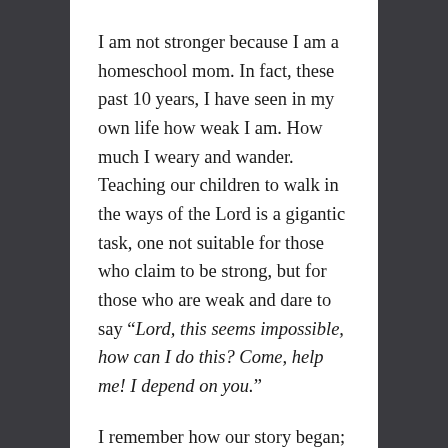I am not stronger because I am a homeschool mom. In fact, these past 10 years, I have seen in my own life how weak I am. How much I weary and wander. Teaching our children to walk in the ways of the Lord is a gigantic task, one not suitable for those who claim to be strong, but for those who are weak and dare to say “Lord, this seems impossible, how can I do this? Come, help me! I depend on you.”
I remember how our story began; our